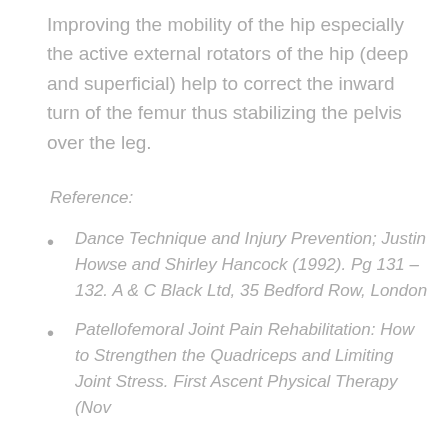Improving the mobility of the hip especially the active external rotators of the hip (deep and superficial) help to correct the inward turn of the femur thus stabilizing the pelvis over the leg.
Reference:
Dance Technique and Injury Prevention; Justin Howse and Shirley Hancock (1992). Pg 131 – 132. A & C Black Ltd, 35 Bedford Row, London
Patellofemoral Joint Pain Rehabilitation: How to Strengthen the Quadriceps and Limiting Joint Stress. First Ascent Physical Therapy (Nov